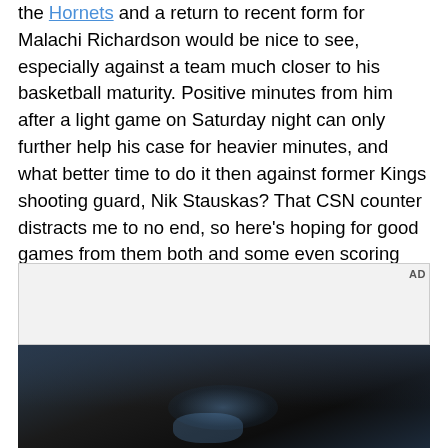the Hornets and a return to recent form for Malachi Richardson would be nice to see, especially against a team much closer to his basketball maturity. Positive minutes from him after a light game on Saturday night can only further help his case for heavier minutes, and what better time to do it then against former Kings shooting guard, Nik Stauskas? That CSN counter distracts me to no end, so here's hoping for good games from them both and some even scoring throughout.
[Figure (other): Light gray advertisement placeholder box with 'AD' label in upper right corner]
[Figure (photo): Dark photograph showing a person's hand holding a phone or object, with dark interior/ceiling visible in background]